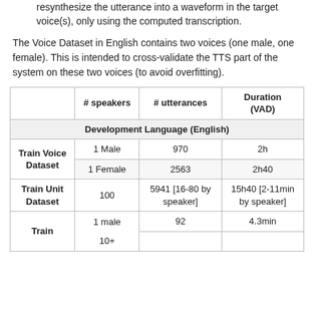resynthesize the utterance into a waveform in the target voice(s), only using the computed transcription.
The Voice Dataset in English contains two voices (one male, one female). This is intended to cross-validate the TTS part of the system on these two voices (to avoid overfitting).
|  | # speakers | # utterances | Duration (VAD) |
| --- | --- | --- | --- |
| Development Language (English) |  |  |  |
| Train Voice Dataset | 1 Male | 970 | 2h |
| Train Voice Dataset | 1 Female | 2563 | 2h40 |
| Train Unit Dataset | 100 | 5941 [16-80 by speaker] | 15h40 [2-11min by speaker] |
| Train | 10+ / 1 male | 92 | 4.3min |